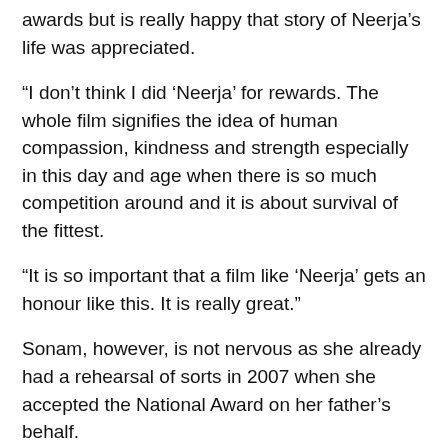awards but is really happy that story of Neerja's life was appreciated.
“I don’t think I did ‘Neerja’ for rewards. The whole film signifies the idea of human compassion, kindness and strength especially in this day and age when there is so much competition around and it is about survival of the fittest.
“It is so important that a film like ‘Neerja’ gets an honour like this. It is really great.”
Sonam, however, is not nervous as she already had a rehearsal of sorts in 2007 when she accepted the National Award on her father’s behalf.
“My father has won two national awards–for ‘Pukar’ and ‘Gandhi My Father’, which he produced. He was in South Africa and I was shooting for ‘Aisha’ in Delhi. Nobody could get in touch with him so my uncle told them that I will receive the award on his behalf.”